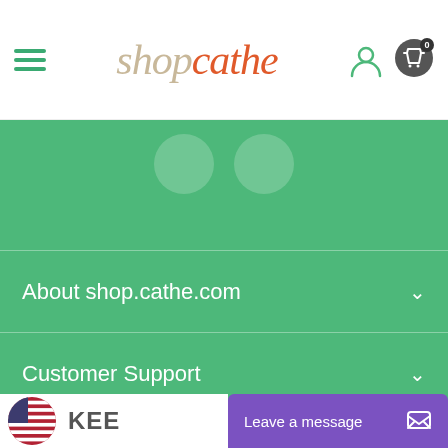[Figure (logo): shopcathe logo with hamburger menu, user icon, and cart icon]
[Figure (illustration): Green banner with faint circular overlay elements]
About shop.cathe.com
Customer Support
Our Products
[Figure (illustration): US flag circle icon and partial KEEP text]
Leave a message